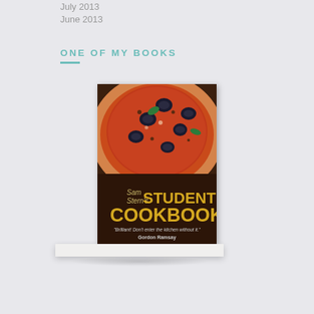July 2013
June 2013
ONE OF MY BOOKS
[Figure (photo): Book cover of 'Sam Stern's Student Cookbook' showing a pizza with olives on top. Quote reads 'Brilliant! Don't enter the kitchen without it.' - Gordon Ramsay. Book is displayed on a white shelf with a shadow beneath.]